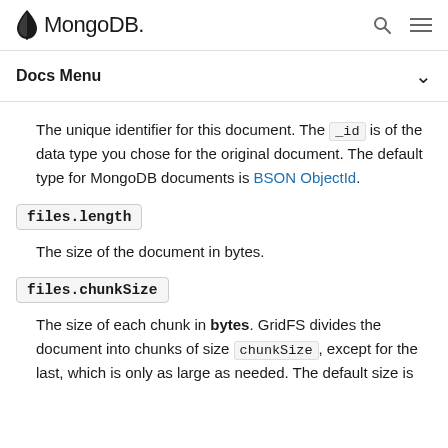MongoDB Docs Menu
The unique identifier for this document. The _id is of the data type you chose for the original document. The default type for MongoDB documents is BSON ObjectId.
files.length
The size of the document in bytes.
files.chunkSize
The size of each chunk in bytes. GridFS divides the document into chunks of size chunkSize, except for the last, which is only as large as needed. The default size is 255 kilobytes (kB).